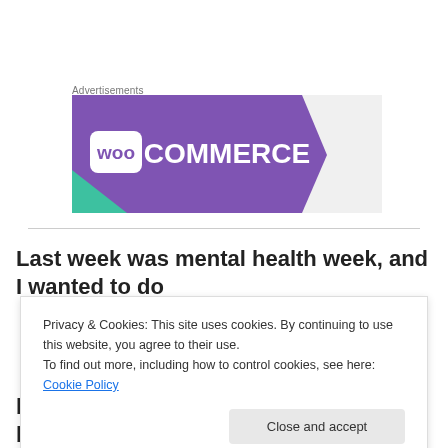Advertisements
[Figure (logo): WooCommerce advertisement banner with purple background and teal accent shape]
Last week was mental health week, and I wanted to do
Privacy & Cookies: This site uses cookies. By continuing to use this website, you agree to their use.
To find out more, including how to control cookies, see here: Cookie Policy
[Close and accept]
because I wanted to disappear, to not be judged. I hoped